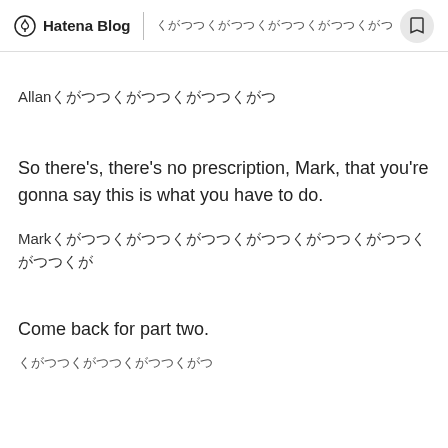Hatena Blog | （Japanese text）
Allan（Japanese text）
So there's, there's no prescription, Mark, that you're gonna say this is what you have to do.
Mark（Japanese text）
Come back for part two.
（Japanese text）